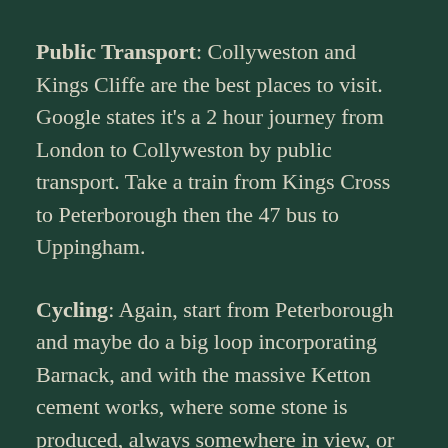Public Transport: Collyweston and Kings Cliffe are the best places to visit. Google states it's a 2 hour journey from London to Collyweston by public transport. Take a train from Kings Cross to Peterborough then the 47 bus to Uppingham.
Cycling: Again, start from Peterborough and maybe do a big loop incorporating Barnack, and with the massive Ketton cement works, where some stone is produced, always somewhere in view, or alternatively take the